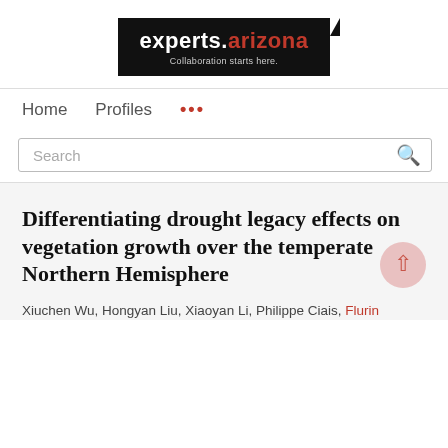[Figure (logo): experts.arizona logo — white text on black background with tagline 'Collaboration starts here.']
Home    Profiles    ...
Search
Differentiating drought legacy effects on vegetation growth over the temperate Northern Hemisphere
Xiuchen Wu, Hongyan Liu, Xiaoyan Li, Philippe Ciais, Flurin